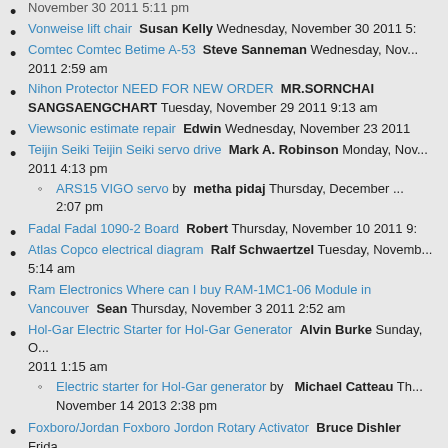November 30 2011 5:11 pm (truncated at top)
Vonweise lift chair  Susan Kelly  Wednesday, November 30 2011 5:...
Comtec Comtec Betime A-53  Steve Sanneman  Wednesday, November... 2011 2:59 am
Nihon Protector NEED FOR NEW ORDER  MR.SORNCHAI SANGSAENGCHART  Tuesday, November 29 2011 9:13 am
Viewsonic estimate repair  Edwin  Wednesday, November 23 2011 ...
Teijin Seiki Teijin Seiki servo drive  Mark A. Robinson  Monday, November... 2011 4:13 pm
ARS15 VIGO servo  by  metha pidaj  Thursday, December... 2:07 pm
Fadal Fadal 1090-2 Board  Robert  Thursday, November 10 2011 9:...
Atlas Copco electrical diagram  Ralf Schwaertzel  Tuesday, November... 5:14 am
Ram Electronics Where can I buy RAM-1MC1-06 Module in Vancouver  Sean  Thursday, November 3 2011 2:52 am
Hol-Gar Electric Starter for Hol-Gar Generator  Alvin Burke  Sunday, O... 2011 1:15 am
Electric starter for Hol-Gar generator  by  Michael Catteau  Th... November 14 2013 2:38 pm
Foxboro/Jordan Foxboro Jordon Rotary Activator  Bruce Dishler  Frida... 28 2011 6:01 pm
Datum Repair Tymserv 2100  Roger Boudreau  Wednesday, Octo... 8:40 pm
Hydrolux hydrolux ultra flow macerator  robin mitche'...  Octo... 2011 7:25 pm
Similar problem with Hydrolux macerator  by  M F O...  Mo... February 13 2012 9:17 pm